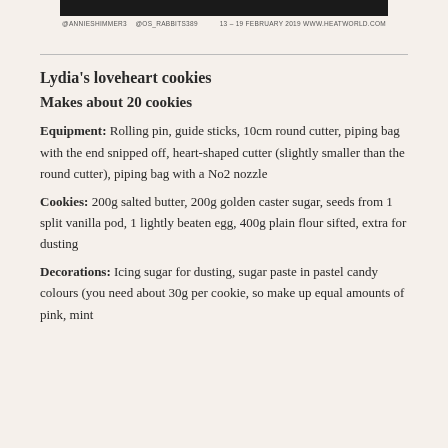@ANNIESHIMMER3 @OS_RABBITS389   13–19 FEBRUARY 2019 WWW.HEATWORLD.COM
Lydia's loveheart cookies
Makes about 20 cookies
Equipment: Rolling pin, guide sticks, 10cm round cutter, piping bag with the end snipped off, heart-shaped cutter (slightly smaller than the round cutter), piping bag with a No2 nozzle
Cookies: 200g salted butter, 200g golden caster sugar, seeds from 1 split vanilla pod, 1 lightly beaten egg, 400g plain flour sifted, extra for dusting
Decorations: Icing sugar for dusting, sugar paste in pastel candy colours (you need about 30g per cookie, so make up equal amounts of pink, mint